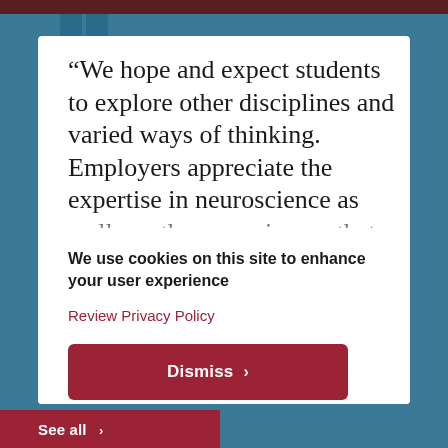“We hope and expect students to explore other disciplines and varied ways of thinking. Employers appreciate the expertise in neuroscience as well as other experiences that help students think
We use cookies on this site to enhance your user experience
Review Privacy Policy
Dismiss >
See all >